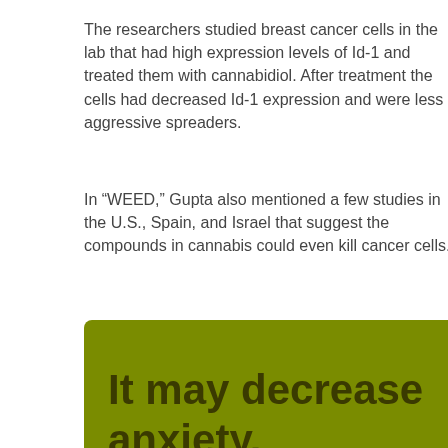The researchers studied breast cancer cells in the lab that had high expression levels of Id-1 and treated them with cannabidiol. After treatment the cells had decreased Id-1 expression and were less aggressive spreaders.
In “WEED,” Gupta also mentioned a few studies in the U.S., Spain, and Israel that suggest the compounds in cannabis could even kill cancer cells.
[Figure (infographic): Olive/dark yellow-green rounded rectangle containing large bold text: 'It may decrease anxiety.']
It may decrease anxiety.
Flickr/sergeant killjoy